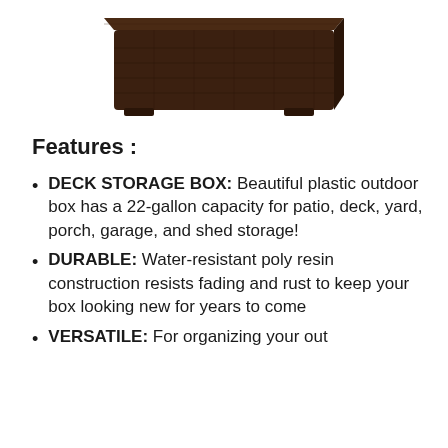[Figure (photo): Dark brown plastic outdoor storage box/deck box viewed from a slightly elevated angle, showing the top and front, with a wicker-like textured surface.]
Features :
DECK STORAGE BOX: Beautiful plastic outdoor box has a 22-gallon capacity for patio, deck, yard, porch, garage, and shed storage!
DURABLE: Water-resistant poly resin construction resists fading and rust to keep your box looking new for years to come
VERSATILE: ...